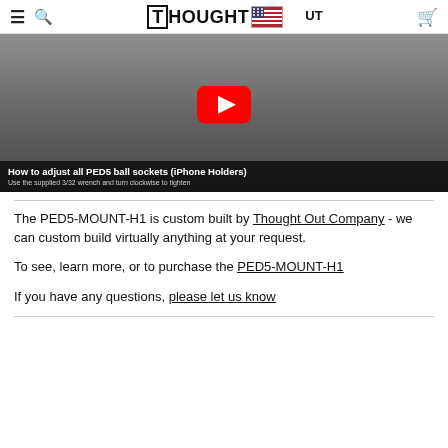ThoughtOut [logo with US flag and cart icon]
[Figure (screenshot): YouTube video thumbnail showing hands adjusting a PED5 ball socket mount with a wrench. Red YouTube play button visible. Caption text: 'How to adjust all PED5 ball sockets (iPhone Holders)' and 'Use the supplied 3/32 wrench and turn clockwise to tighten']
The PED5-MOUNT-H1 is custom built by Thought Out Company - we can custom build virtually anything at your request.
To see, learn more, or to purchase the PED5-MOUNT-H1
If you have any questions, please let us know